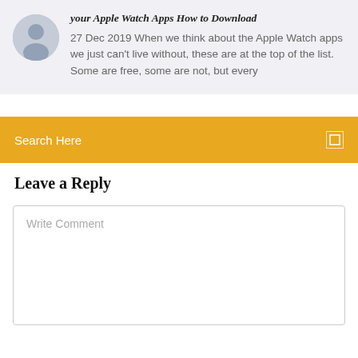[Figure (photo): Circular avatar photo of a man]
your Apple Watch Apps How to Download
27 Dec 2019 When we think about the Apple Watch apps we just can't live without, these are at the top of the list. Some are free, some are not, but every
Search Here
Leave a Reply
Write Comment